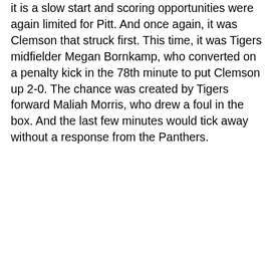it is a slow start and scoring opportunities were again limited for Pitt. And once again, it was Clemson that struck first. This time, it was Tigers midfielder Megan Bornkamp, who converted on a penalty kick in the 78th minute to put Clemson up 2-0. The chance was created by Tigers forward Maliah Morris, who drew a foul in the box. And the last few minutes would tick away without a response from the Panthers.